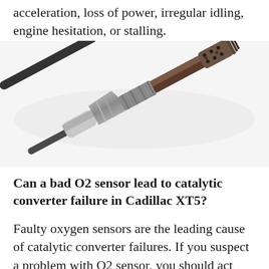acceleration, loss of power, irregular idling, engine hesitation, or stalling.
[Figure (photo): Close-up photograph of an O2 (oxygen) sensor component — a cylindrical metal sensor with a hex nut fitting, threaded end, and a perforated metallic tip, photographed diagonally on a white background.]
Can a bad O2 sensor lead to catalytic converter failure in Cadillac XT5?
Faulty oxygen sensors are the leading cause of catalytic converter failures. If you suspect a problem with O2 sensor, you should act immediately and get it checked by a professional mechanic. O2 sensors are